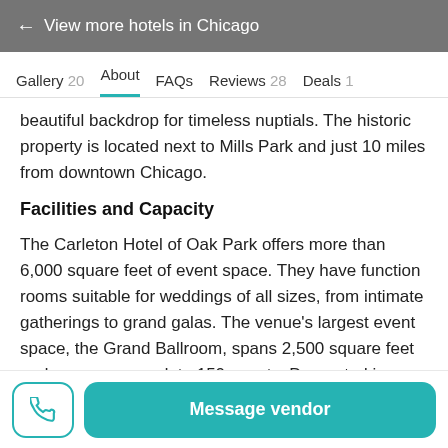← View more hotels in Chicago
Gallery 20  About  FAQs  Reviews 28  Deals 1
beautiful backdrop for timeless nuptials. The historic property is located next to Mills Park and just 10 miles from downtown Chicago.
Facilities and Capacity
The Carleton Hotel of Oak Park offers more than 6,000 square feet of event space. They have function rooms suitable for weddings of all sizes, from intimate gatherings to grand galas. The venue's largest event space, the Grand Ballroom, spans 2,500 square feet and can accommodate 150 guests. Decorated in an elegant style, this beautiful
Message vendor